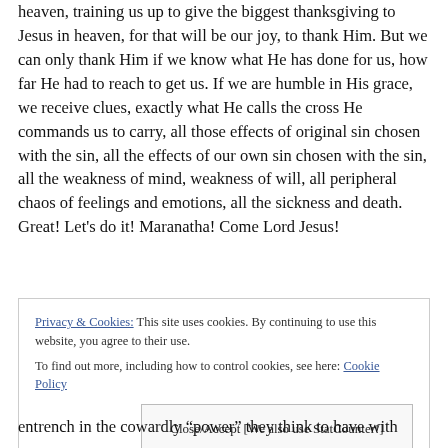heaven, training us up to give the biggest thanksgiving to Jesus in heaven, for that will be our joy, to thank Him. But we can only thank Him if we know what He has done for us, how far He had to reach to get us. If we are humble in His grace, we receive clues, exactly what He calls the cross He commands us to carry, all those effects of original sin chosen with the sin, all the effects of our own sin chosen with the sin, all the weakness of mind, weakness of will, all peripheral chaos of feelings and emotions, all the sickness and death. Great! Let's do it! Maranatha! Come Lord Jesus!
Privacy & Cookies: This site uses cookies. By continuing to use this website, you agree to their use. To find out more, including how to control cookies, see here: Cookie Policy
Close/Accept [We also use StatCounter!]
entrench in the cowardly "power" they think to have with